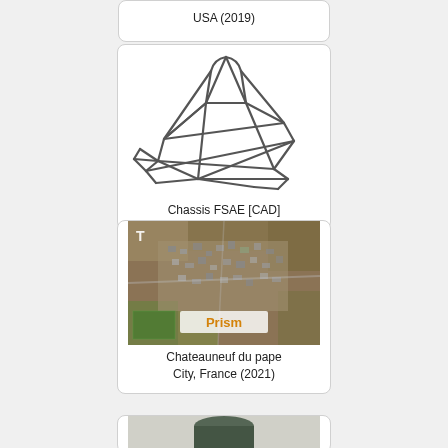[Figure (schematic): Partial card showing USA (2019) label at top of page]
USA (2019)
[Figure (engineering-diagram): CAD drawing of an FSAE race car tubular space frame chassis, shown in isometric 3D view with triangulated tube structure]
Chassis FSAE [CAD]
[Figure (map): Aerial satellite photo of Chateauneuf du pape city in France (2021), captured with Prism software. Shows dense urban settlement surrounded by fields. Has 'T' marker and 'Prism' branding overlay.]
Chateauneuf du pape City, France (2021)
[Figure (photo): Partial card at bottom showing what appears to be an industrial tank or container]